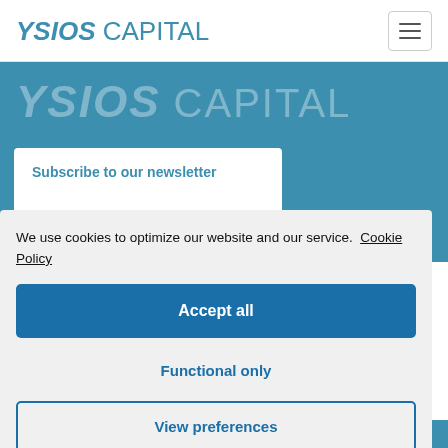[Figure (screenshot): Ysios Capital website navbar with logo and hamburger menu]
[Figure (screenshot): Teal hero banner background with Ysios Capital watermark logo]
Subscribe to our newsletter
We use cookies to optimize our website and our service. Cookie Policy
Accept all
Functional only
View preferences